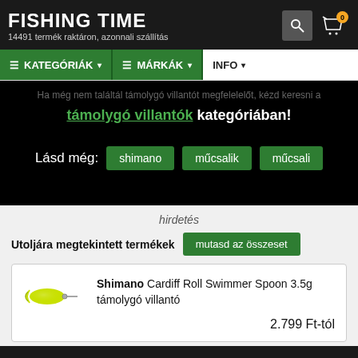FISHING TIME — 14491 termék raktáron, azonnali szállítás
KATEGÓRIÁK | MÁRKÁK | INFO
támolygó villantók kategóriában!
Lásd még: shimano műcsalik műcsali
hirdetés
Utoljára megtekintett termékek  mutasd az összeset
Shimano Cardiff Roll Swimmer Spoon 3.5g támolygó villantó — 2.799 Ft-tól